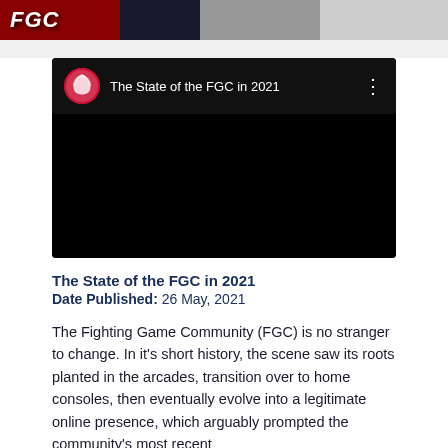[Figure (photo): Top banner image showing FGC branding with red and dark background, partial figures visible]
[Figure (screenshot): YouTube video thumbnail with black background showing title 'The State of the FGC in 2021' with channel icon and three-dot menu]
The State of the FGC in 2021
Date Published: 26 May, 2021
The Fighting Game Community (FGC) is no stranger to change. In it's short history, the scene saw its roots planted in the arcades, transition over to home consoles, then eventually evolve into a legitimate online presence, which arguably prompted the community's most recent